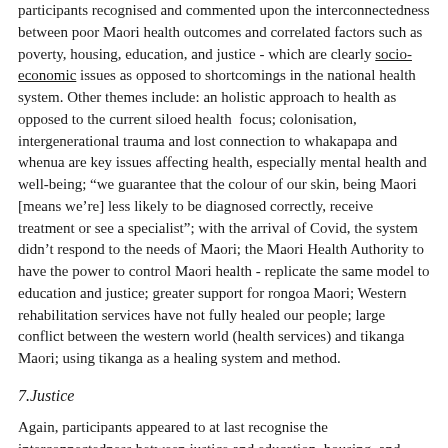participants recognised and commented upon the interconnectedness between poor Maori health outcomes and correlated factors such as poverty, housing, education, and justice - which are clearly socio-economic issues as opposed to shortcomings in the national health system. Other themes include: an holistic approach to health as opposed to the current siloed health  focus; colonisation, intergenerational trauma and lost connection to whakapapa and whenua are key issues affecting health, especially mental health and well-being; "we guarantee that the colour of our skin, being Maori [means we're] less likely to be diagnosed correctly, receive treatment or see a specialist"; with the arrival of Covid, the system didn't respond to the needs of Maori; the Maori Health Authority to have the power to control Maori health - replicate the same model to education and justice; greater support for rongoa Maori; Western rehabilitation services have not fully healed our people; large conflict between the western world (health services) and tikanga Maori; using tikanga as a healing system and method.
7.Justice
Again, participants appeared to at last recognise the interconnectedness between justice and education, housing, and